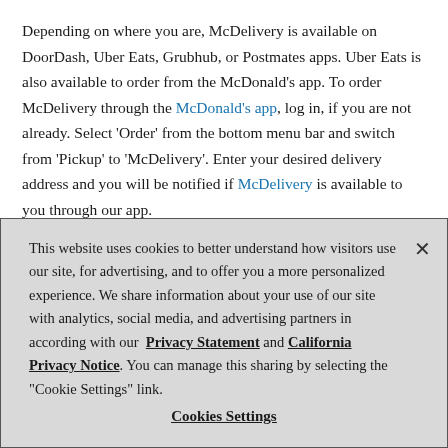Depending on where you are, McDelivery is available on DoorDash, Uber Eats, Grubhub, or Postmates apps. Uber Eats is also available to order from the McDonald's app. To order McDelivery through the McDonald's app, log in, if you are not already. Select 'Order' from the bottom menu bar and switch from 'Pickup' to 'McDelivery'. Enter your desired delivery address and you will be notified if McDelivery is available to you through our app.
This website uses cookies to better understand how visitors use our site, for advertising, and to offer you a more personalized experience. We share information about your use of our site with analytics, social media, and advertising partners in according with our Privacy Statement and California Privacy Notice. You can manage this sharing by selecting the "Cookie Settings" link.
Cookies Settings